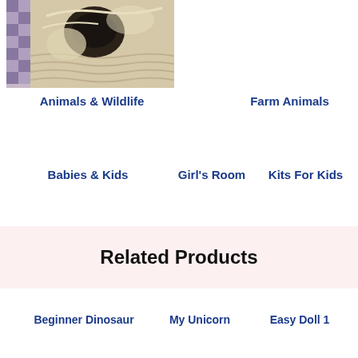[Figure (photo): Close-up photo of a needlepoint or tapestry depicting an animal face (possibly a dog or cat), with beige, black, and gray tones on a checkered gray-purple background.]
Animals & Wildlife
Farm Animals
Babies & Kids
Girl's Room
Kits For Kids
Related Products
Beginner Dinosaur
My Unicorn
Easy Doll 1